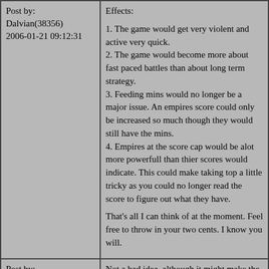Post by:
Dalvian(38356)
2006-01-21 09:12:31
Effects:

1. The game would get very violent and active very quick.
2. The game would become more about fast paced battles than about long term strategy.
3. Feeding mins would no longer be a major issue. An empires score could only be increased so much though they would still have the mins.
4. Empires at the score cap would be alot more powerfull than thier scores would indicate. This could make taking top a little tricky as you could no longer read the score to figure out what they have.

That's all I can think of at the moment. Feel free to throw in your two cents. I know you will.
Post by:
RadicalG(52434)
Not a bad idea, although it might make the round all come down to the last day, whether thats a bad thing depends on